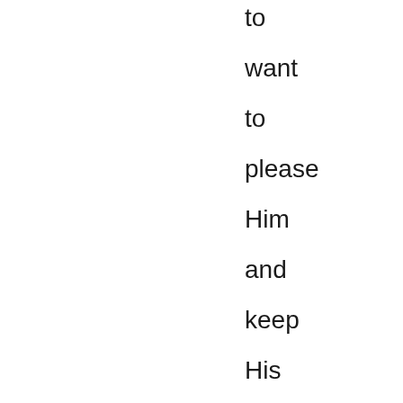to
want
to
please
Him
and
keep
His
commandments.

    As
I
have
repeatedly